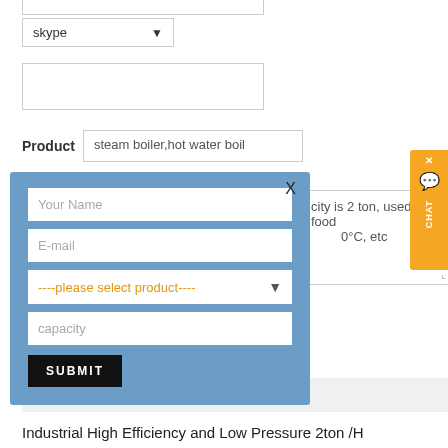[Figure (screenshot): Web form UI with skype dropdown selector and text input field]
Product   steam boiler,hot water boil
city is 2 ton, used for food 0°C, etc
[Figure (screenshot): Modal popup on blue background with fields: Your Name, E-mail, product selector dropdown, capacity, and SUBMIT button]
[Figure (screenshot): Orange chat widget on right side with X close button and CHAT label]
SUBMIT
RECENT POSTS
Industrial High Efficiency and Low Pressure 2ton /H